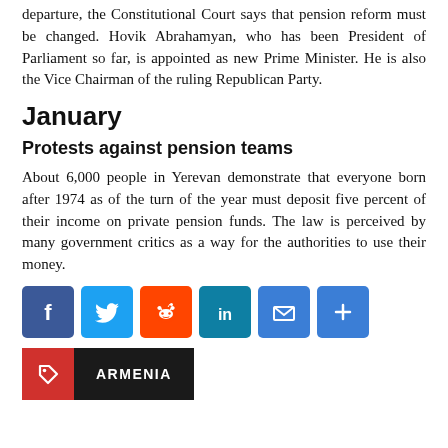departure, the Constitutional Court says that pension reform must be changed. Hovik Abrahamyan, who has been President of Parliament so far, is appointed as new Prime Minister. He is also the Vice Chairman of the ruling Republican Party.
January
Protests against pension teams
About 6,000 people in Yerevan demonstrate that everyone born after 1974 as of the turn of the year must deposit five percent of their income on private pension funds. The law is perceived by many government critics as a way for the authorities to use their money.
[Figure (infographic): Social share buttons: Facebook (blue), Twitter (blue), Reddit (orange), LinkedIn (teal), Email (blue), Share/More (blue)]
[Figure (infographic): Tag icon (red square with white tag icon) followed by ARMENIA label on dark background]